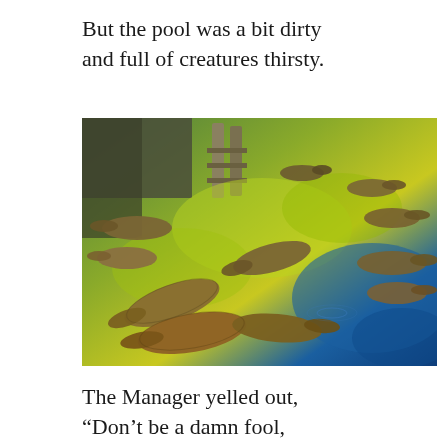But the pool was a bit dirty
and full of creatures thirsty.
[Figure (photo): A pool/enclosure filled with numerous crocodiles or alligators in dirty greenish-yellow water. Multiple reptiles are visible swimming and resting both in and around the murky water. The enclosure has concrete walls visible in the background with what appears to be ramps or ledges.]
The Manager yelled out,
“Don’t be a damn fool,